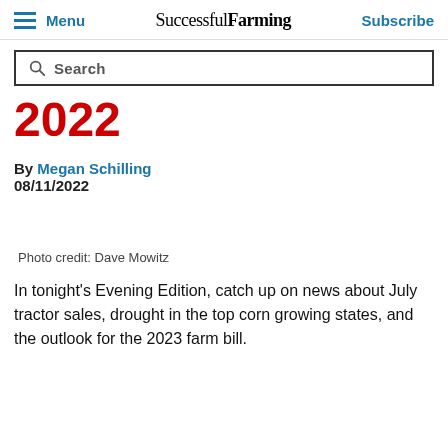Menu | Successful Farming | Subscribe
Search
2022
By Megan Schilling
08/11/2022
Photo credit: Dave Mowitz
In tonight's Evening Edition, catch up on news about July tractor sales, drought in the top corn growing states, and the outlook for the 2023 farm bill.